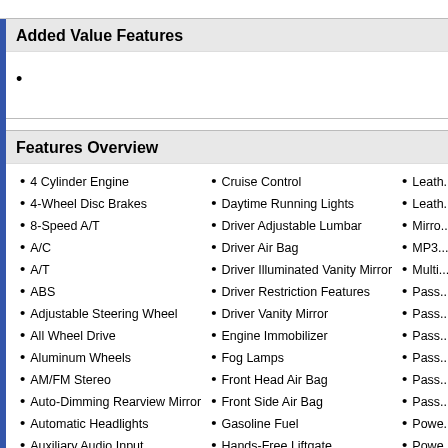Added Value Features
Features Overview
4 Cylinder Engine
4-Wheel Disc Brakes
8-Speed A/T
A/C
A/T
ABS
Adjustable Steering Wheel
All Wheel Drive
Aluminum Wheels
AM/FM Stereo
Auto-Dimming Rearview Mirror
Automatic Headlights
Auxiliary Audio Input
Back-Up Camera
Blind Spot Monitor
Cruise Control
Daytime Running Lights
Driver Adjustable Lumbar
Driver Air Bag
Driver Illuminated Vanity Mirror
Driver Restriction Features
Driver Vanity Mirror
Engine Immobilizer
Fog Lamps
Front Head Air Bag
Front Side Air Bag
Gasoline Fuel
Hands-Free Liftgate
HD Radio
Heated Front Seat
Leath...
Leath...
Mirro...
MP3...
Multi...
Pass...
Pass...
Pass...
Pass...
Pass...
Pass...
Powe...
Powe...
Powe...
Powe...